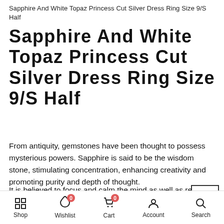Sapphire And White Topaz Princess Cut Silver Dress Ring Size 9/S Half
Sapphire And White Topaz Princess Cut Silver Dress Ring Size 9/S Half
From antiquity, gemstones have been thought to possess mysterious powers. Sapphire is said to be the wisdom stone, stimulating concentration, enhancing creativity and promoting purity and depth of thought.
It is believed to focus and calm the mind as well as remove unwanted thoughts, depression and mental tension. It is k… as the stone of new love and commitment and is claimed… useful in encouraging faithfulness and loyalty. Sapphire is…
Shop  Wishlist  Cart  Account  Search